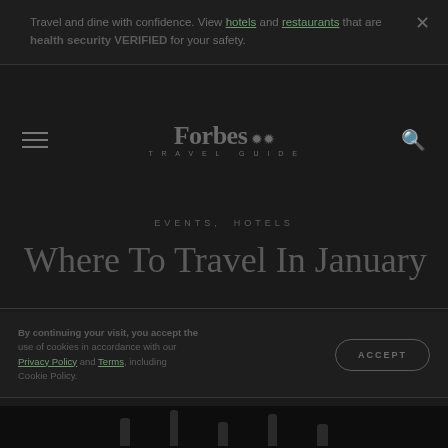Travel and dine with confidence. View hotels and restaurants that are health security VERIFIED for your safety.
[Figure (logo): Forbes Travel Guide logo with hamburger menu and search icon]
EVENTS, HOTELS
Where To Travel In January
By continuing your visit, you accept the use of cookies in accordance with our Privacy Policy and Terms, including Cookie Policy.
[Figure (photo): Dark bottom image showing bottles/silhouettes]